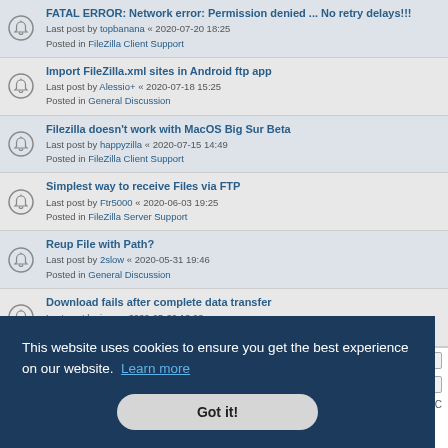FATAL ERROR: Network error: Permission denied ... No retry delays!!!
Last post by topbanana « 2020-07-20 18:25
Posted in FileZilla Client Support
Import FileZilla.xml sites in Android ftp app
Last post by Alessio+ « 2020-07-18 15:25
Posted in General Discussion
Filezilla doesn't work with MacOS Big Sur Beta
Last post by happyzilla « 2020-07-15 14:49
Posted in FileZilla Client Support
Simplest way to receive Files via FTP
Last post by Ftr5000 « 2020-06-03 19:25
Posted in FileZilla Server Support
Reup File with Path?
Last post by 2slow « 2020-05-31 19:46
Posted in General Discussion
Download fails after complete data transfer
Last post by jgao « 2020-05-29 18:08
Posted in FileZilla Client Support
This website uses cookies to ensure you get the best experience on our website. Learn more
Got it!